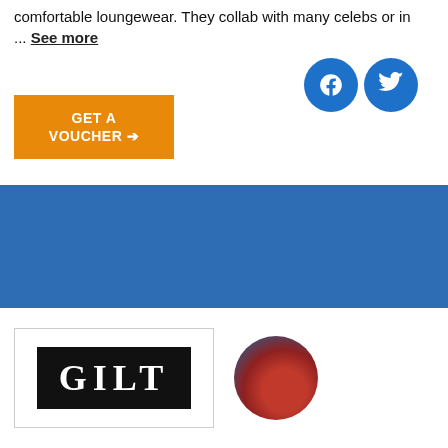comfortable loungewear. They collab with many celebs or in ... See more
[Figure (other): Orange 'GET A VOUCHER' button with arrow]
[Figure (other): Facebook and Twitter social media circular icon buttons in blue]
[Figure (other): Blue background area filling the middle of the page]
[Figure (logo): GILT brand logo in white serif text on black background, inside a bordered box]
[Figure (photo): Circular profile image showing a dark red and grey cloudy/volcanic scene]